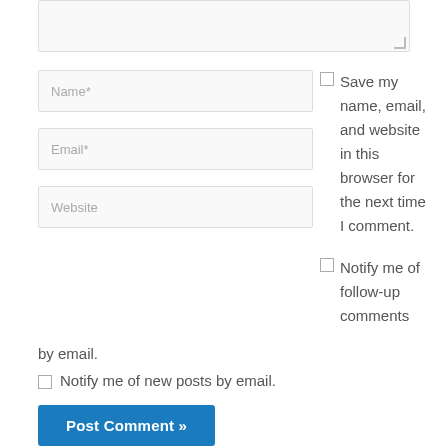[Figure (screenshot): Textarea input field (partially visible at top, cropped)]
Name*
Email*
Website
Save my name, email, and website in this browser for the next time I comment.
Notify me of follow-up comments by email.
Notify me of new posts by email.
Post Comment »